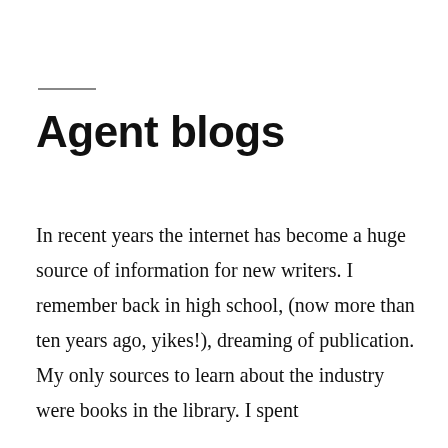Agent blogs
In recent years the internet has become a huge source of information for new writers. I remember back in high school, (now more than ten years ago, yikes!), dreaming of publication. My only sources to learn about the industry were books in the library. I spent